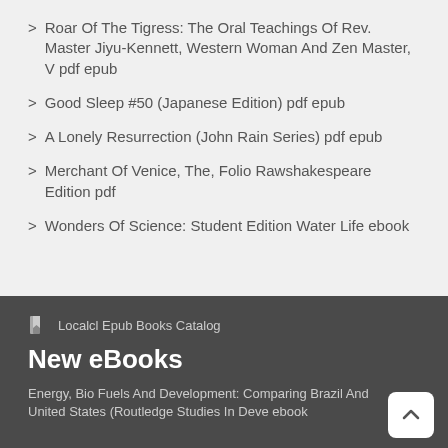Roar Of The Tigress: The Oral Teachings Of Rev. Master Jiyu-Kennett, Western Woman And Zen Master, V pdf epub
Good Sleep #50 (Japanese Edition) pdf epub
A Lonely Resurrection (John Rain Series) pdf epub
Merchant Of Venice, The, Folio Rawshakespeare Edition pdf
Wonders Of Science: Student Edition Water Life ebook
Localcl Epub Books Catalog
New eBooks
Energy, Bio Fuels And Development: Comparing Brazil And United States (Routledge Studies In Deve ebook